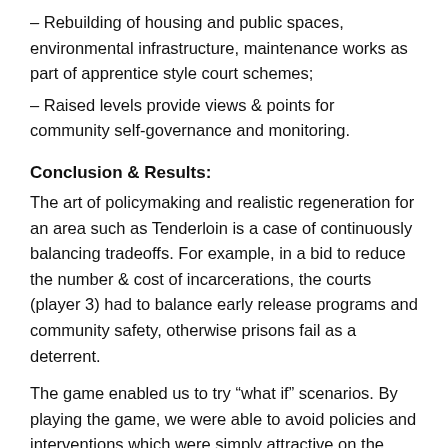– Rebuilding of housing and public spaces, environmental infrastructure, maintenance works as part of apprentice style court schemes;
– Raised levels provide views & points for community self-governance and monitoring.
Conclusion & Results:
The art of policymaking and realistic regeneration for an area such as Tenderloin is a case of continuously balancing tradeoffs. For example, in a bid to reduce the number & cost of incarcerations, the courts (player 3) had to balance early release programs and community safety, otherwise prisons fail as a deterrent.
The game enabled us to try “what if” scenarios. By playing the game, we were able to avoid policies and interventions which were simply attractive on the surface but flawed.